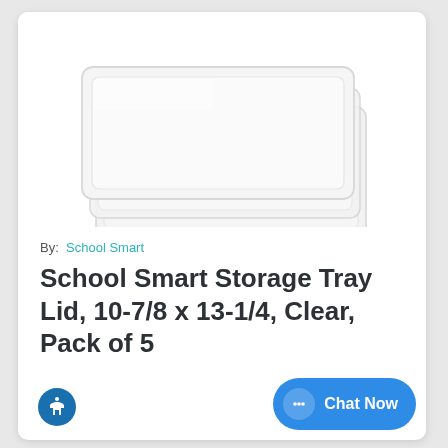[Figure (photo): Three stacked clear plastic storage tray lids, white/translucent, viewed from a slight angle on white background]
By:  School Smart
School Smart Storage Tray Lid, 10-7/8 x 13-1/4, Clear, Pack of 5